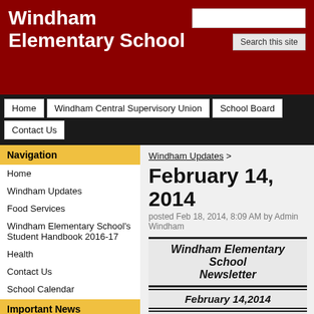Windham Elementary School
Home | Windham Central Supervisory Union | School Board | Contact Us
Navigation
Home
Windham Updates
Food Services
Windham Elementary School's Student Handbook 2016-17
Health
Contact Us
School Calendar
Important News
Act 166 Preschool Info
In accordance with Vermont Immunization Law as outlined in Act 157 of the 2011-2012 General Assembly
Windham Updates >
February 14, 2014
posted Feb 18, 2014, 8:09 AM by Admin Windham
Windham Elementary School Newsletter
February 14,2014
“Safe, Responsible, Respectful, Ready to learn”
The newsletter is early...may not have school tomorrow.
However, on Friday February 14th the